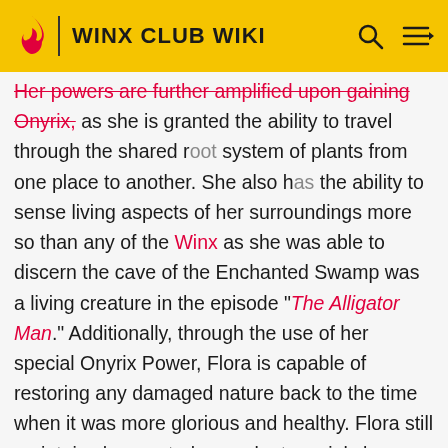WINX CLUB WIKI
Her powers are further amplified upon gaining Onyrix, as she is granted the ability to travel through the shared root system of plants from one place to another. She also has the ability to sense living aspects of her surroundings more so than any of the Winx as she was able to discern the cave of the Enchanted Swamp was a living creature in the episode "The Alligator Man." Additionally, through the use of her special Onyrix Power, Flora is capable of restoring any damaged nature back to the time when it was more glorious and healthy. Flora still maintains her control over plants mainly by manipulating vines, but she is also capable of seeing through the point of view of plants, control forests more specifically calling forth branches as well as intense winds, and capable of conjuring food(mainly fruits and vegetables). She displays